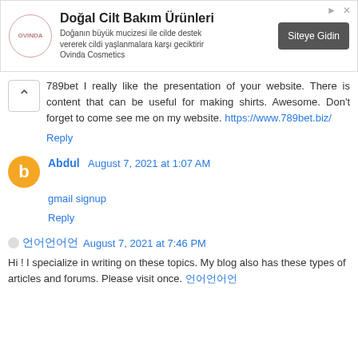[Figure (other): Advertisement banner for Ovinda Cosmetics - Doğal Cilt Bakım Ürünleri with logo, description text, and 'Siteye Gidin' button]
789bet I really like the presentation of your website. There is content that can be useful for making shirts. Awesome. Don't forget to come see me on my website. https://www.789bet.biz/
Reply
Abdul August 7, 2021 at 1:07 AM
gmail signup
Reply
언어언어언 August 7, 2021 at 7:46 PM
Hi ! I specialize in writing on these topics. My blog also has these types of articles and forums. Please visit once. 언어언어언